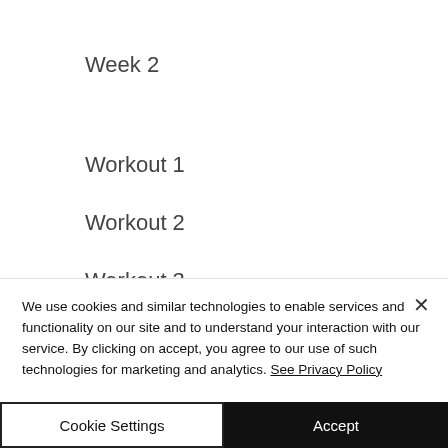Week 2
Workout 1
Workout 2
Workout 3
Workout 4
We use cookies and similar technologies to enable services and functionality on our site and to understand your interaction with our service. By clicking on accept, you agree to our use of such technologies for marketing and analytics. See Privacy Policy
Cookie Settings
Accept